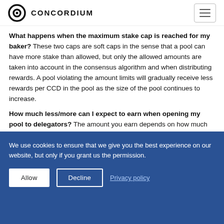CONCORDIUM
What happens when the maximum stake cap is reached for my baker? These two caps are soft caps in the sense that a pool can have more stake than allowed, but only the allowed amounts are taken into account in the consensus algorithm and when distributing rewards. A pool violating the amount limits will gradually receive less rewards per CCD in the pool as the size of the pool continues to increase.
How much less/more can I expect to earn when opening my pool to delegators? The amount you earn depends on how much stake your pool is baking. The more delegators, the
We use cookies to ensure that we give you the best experience on our website, but only if you grant us the permission.
Allow  Decline  Privacy policy